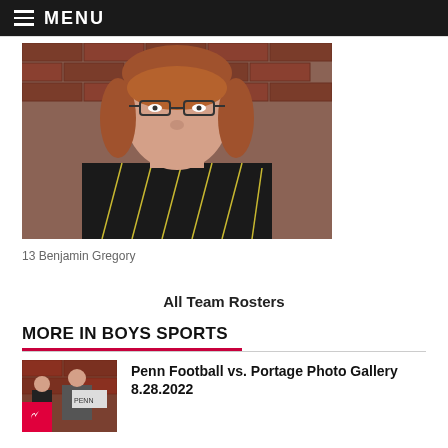MENU
[Figure (photo): Portrait photo of a teenage boy with reddish-brown hair, glasses, wearing a black striped shirt, standing in front of a brick wall.]
13 Benjamin Gregory
All Team Rosters
MORE IN BOYS SPORTS
[Figure (photo): Thumbnail photo for Penn Football vs. Portage Photo Gallery article, showing people at a football event.]
Penn Football vs. Portage Photo Gallery 8.28.2022